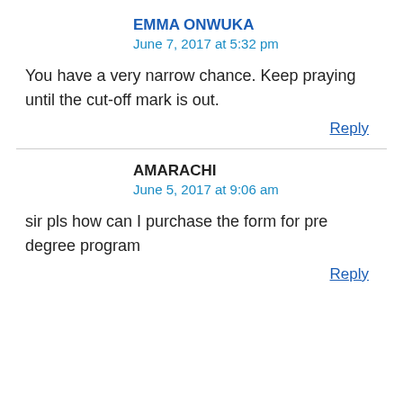EMMA ONWUKA
June 7, 2017 at 5:32 pm
You have a very narrow chance. Keep praying until the cut-off mark is out.
Reply
AMARACHI
June 5, 2017 at 9:06 am
sir pls how can I purchase the form for pre degree program
Reply